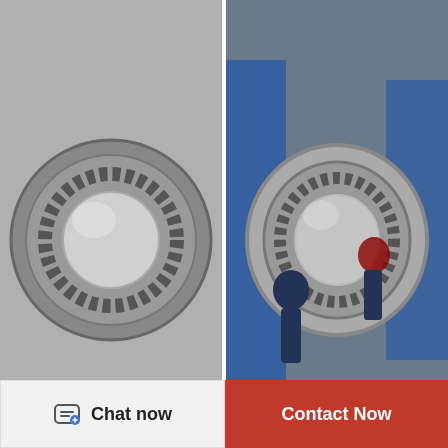[Figure (photo): Spherical roller bearing 23026CA3 NSK product photo on dark background with NSK label]
23026CA3 NSK Railway Rolling Spherical Roller...
[Figure (photo): Workers handling a large NSK 22228M bearing in industrial setting]
22228M NSK Railway Rolling Spherical Roller...
[Figure (photo): Close-up of NSK bearing cross-section product photo]
[Figure (photo): Large bearing installed on machinery, outdoor industrial setting]
[Figure (illustration): WhatsApp contact button overlay with WhatsApp Online text]
Chat now
Contact Now